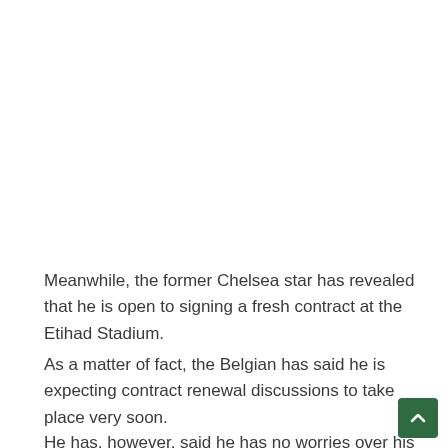Meanwhile, the former Chelsea star has revealed that he is open to signing a fresh contract at the Etihad Stadium.
As a matter of fact, the Belgian has said he is expecting contract renewal discussions to take place very soon.
He has, however, said he has no worries over his immediate future at the Premier League heavyweights